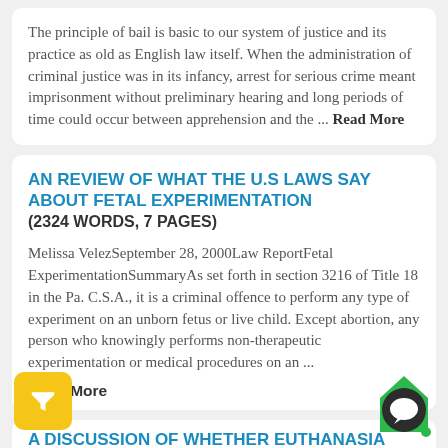The principle of bail is basic to our system of justice and its practice as old as English law itself. When the administration of criminal justice was in its infancy, arrest for serious crime meant imprisonment without preliminary hearing and long periods of time could occur between apprehension and the ... Read More
AN REVIEW OF WHAT THE U.S LAWS SAY ABOUT FETAL EXPERIMENTATION
(2324 WORDS, 7 PAGES)
Melissa VelezSeptember 28, 2000Law ReportFetal ExperimentationSummaryAs set forth in section 3216 of Title 18 in the Pa. C.S.A., it is a criminal offence to perform any type of experiment on an unborn fetus or live child. Except abortion, any person who knowingly performs non-therapeutic experimentation or medical procedures on an ...
Read More
A DISCUSSION OF WHETHER EUTHANASIA AND